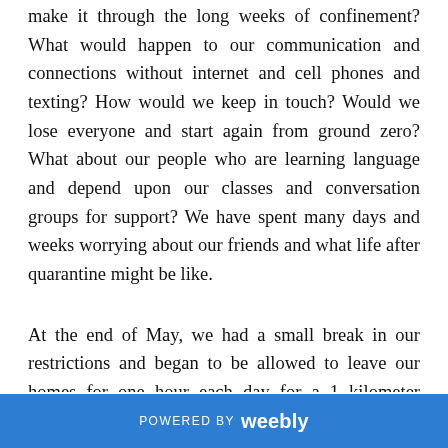make it through the long weeks of confinement? What would happen to our communication and connections without internet and cell phones and texting? How would we keep in touch? Would we lose everyone and start again from ground zero? What about our people who are learning language and depend upon our classes and conversation groups for support? We have spent many days and weeks worrying about our friends and what life after quarantine might be like.

At the end of May, we had a small break in our restrictions and began to be allowed to leave our homes for one hour each day for a 1 kilometer exercise walk. During that time, we saw one of our La Mesa
POWERED BY weebly